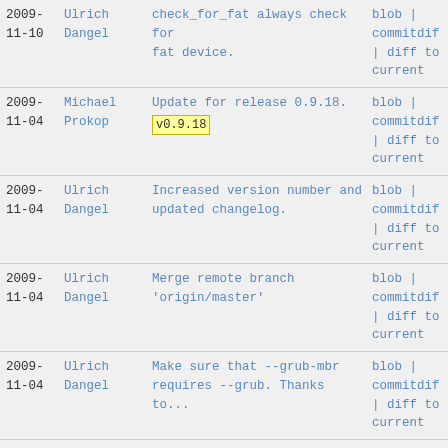| Date | Author | Message | Links |
| --- | --- | --- | --- |
| 2009-
11-10 | Ulrich
Dangel | check_for_fat always check for fat device. | blob | commitdif | diff to current |
| 2009-
11-04 | Michael
Prokop | Update for release 0.9.18.
v0.9.18 | blob | commitdif | diff to current |
| 2009-
11-04 | Ulrich
Dangel | Increased version number and updated changelog. | blob | commitdif | diff to current |
| 2009-
11-04 | Ulrich
Dangel | Merge remote branch 'origin/master' | blob | commitdif | diff to current |
| 2009-
11-04 | Ulrich
Dangel | Make sure that --grub-mbr requires --grub. Thanks to... | blob | commitdif | diff to current |
| 2009- | Ulrich | Also set GRML_DEFAULT when | blob | |